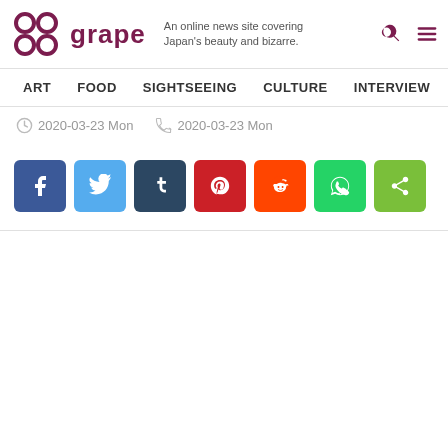grape — An online news site covering Japan's beauty and bizarre.
ART  FOOD  SIGHTSEEING  CULTURE  INTERVIEW
2020-03-23 Mon   2020-03-23 Mon
[Figure (other): Social share buttons: Facebook, Twitter, Tumblr, Pinterest, Reddit, WhatsApp, Share]